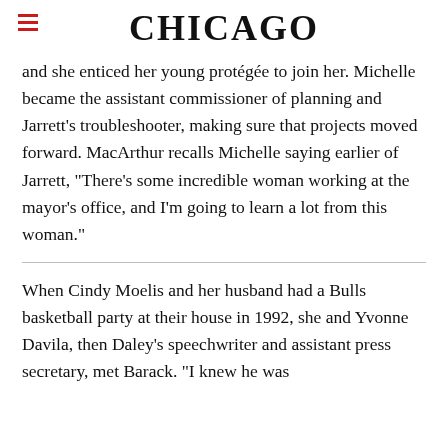CHICAGO
and she enticed her young protégée to join her. Michelle became the assistant commissioner of planning and Jarrett's troubleshooter, making sure that projects moved forward. MacArthur recalls Michelle saying earlier of Jarrett, "There's some incredible woman working at the mayor's office, and I'm going to learn a lot from this woman."
When Cindy Moelis and her husband had a Bulls basketball party at their house in 1992, she and Yvonne Davila, then Daley's speechwriter and assistant press secretary, met Barack. "I knew he was